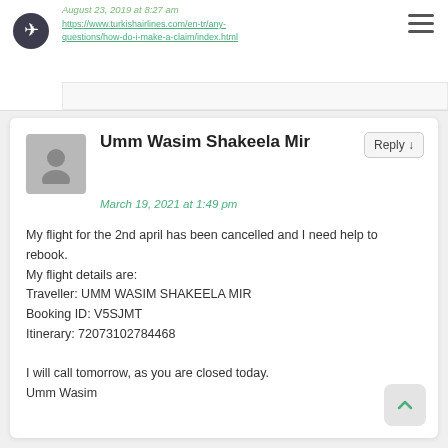August 23, 2019 at 8:27 am
https://www.turkishairlines.com/en-tr/any-questions/how-do-i-make-a-claim/index.html
Umm Wasim Shakeela Mir
March 19, 2021 at 1:49 pm
My flight for the 2nd april has been cancelled and I need help to rebook.
My flight details are:
Traveller: UMM WASIM SHAKEELA MIR
Booking ID: V5SJMT
Itinerary: 72073102784468

I will call tomorrow, as you are closed today.
Umm Wasim